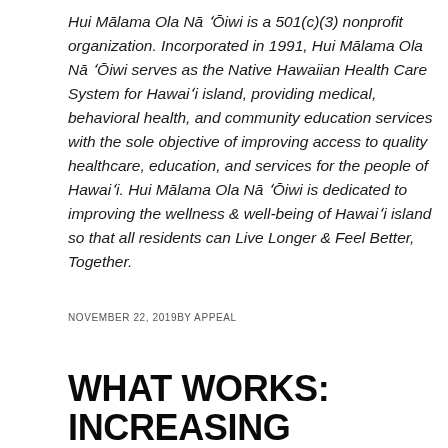Hui Mālama Ola Nā ʻŌiwi is a 501(c)(3) nonprofit organization. Incorporated in 1991, Hui Mālama Ola Nā ʻŌiwi serves as the Native Hawaiian Health Care System for Hawaiʻi island, providing medical, behavioral health, and community education services with the sole objective of improving access to quality healthcare, education, and services for the people of Hawaiʻi. Hui Mālama Ola Nā ʻŌiwi is dedicated to improving the wellness & well-being of Hawaiʻi island so that all residents can Live Longer & Feel Better, Together.
NOVEMBER 22, 2019BY APPEAL
WHAT WORKS: INCREASING CERVICAL CANCER